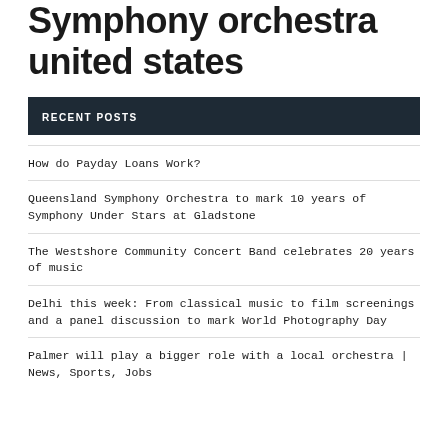Symphony orchestra united states
RECENT POSTS
How do Payday Loans Work?
Queensland Symphony Orchestra to mark 10 years of Symphony Under Stars at Gladstone
The Westshore Community Concert Band celebrates 20 years of music
Delhi this week: From classical music to film screenings and a panel discussion to mark World Photography Day
Palmer will play a bigger role with a local orchestra | News, Sports, Jobs